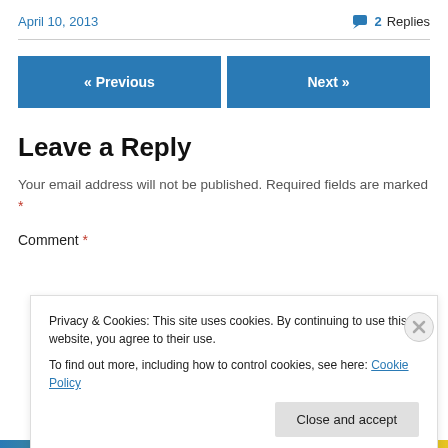April 10, 2013   💬 2 Replies
« Previous   Next »
Leave a Reply
Your email address will not be published. Required fields are marked *
Comment *
Privacy & Cookies: This site uses cookies. By continuing to use this website, you agree to their use.
To find out more, including how to control cookies, see here: Cookie Policy